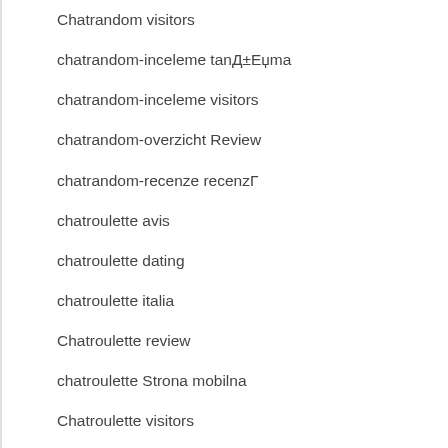Chatrandom visitors
chatrandom-inceleme tanД±Еџma
chatrandom-inceleme visitors
chatrandom-overzicht Review
chatrandom-recenze recenzГ
chatroulette avis
chatroulette dating
chatroulette italia
Chatroulette review
chatroulette Strona mobilna
Chatroulette visitors
chatroulette-overzicht Review